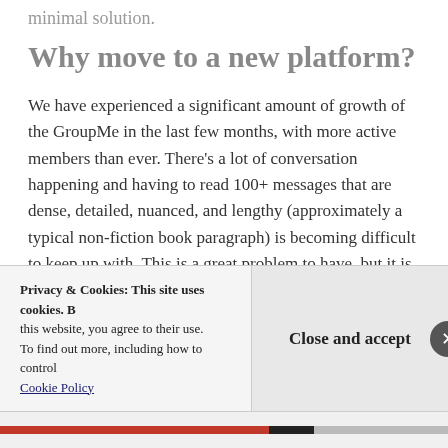minimal solution.
Why move to a new platform?
We have experienced a significant amount of growth of the GroupMe in the last few months, with more active members than ever. There’s a lot of conversation happening and having to read 100+ messages that are dense, detailed, nuanced, and lengthy (approximately a typical non-fiction book paragraph) is becoming difficult to keep up with. This is a great problem to have, but it is still
Privacy & Cookies: This site uses cookies. B… this website, you agree to their use.
To find out more, including how to control…
Cookie Policy
Close and accept